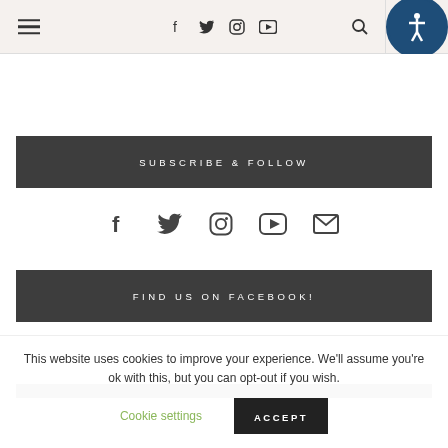[Figure (screenshot): Top navigation bar with hamburger menu icon on left, social media icons (Facebook, Twitter, Instagram, YouTube) in center, search icon and accessibility circle button on right]
SUBSCRIBE & FOLLOW
[Figure (infographic): Social media icons row: Facebook, Twitter, Instagram, YouTube, Email]
FIND US ON FACEBOOK!
This website uses cookies to improve your experience. We'll assume you're ok with this, but you can opt-out if you wish.
Cookie settings   ACCEPT